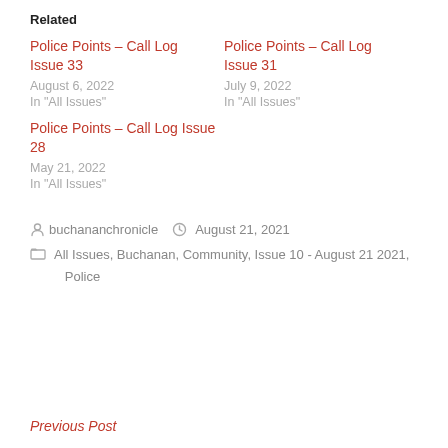Related
Police Points – Call Log Issue 33
August 6, 2022
In "All Issues"
Police Points – Call Log Issue 31
July 9, 2022
In "All Issues"
Police Points – Call Log Issue 28
May 21, 2022
In "All Issues"
buchananchronicle   August 21, 2021
All Issues, Buchanan, Community, Issue 10 - August 21 2021, Police
Previous Post